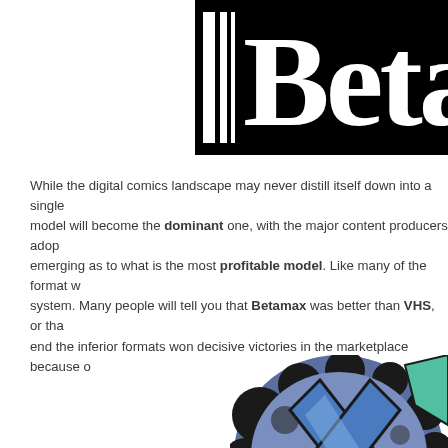[Figure (logo): Betamax logo — black rectangle with white stylized 'Betam' text (partially cropped at right edge)]
While the digital comics landscape may never distill itself down to a single model will become the dominant one, with the major content producers adopting emerging as to what is the most profitable model. Like many of the format wars system. Many people will tell you that Betamax was better than VHS, or that end the inferior formats won decisive victories in the marketplace because o
[Figure (illustration): Comic book style illustration showing a character with blue costume and the word 'COMIC' in orange letters, partially cropped at right and bottom edges]